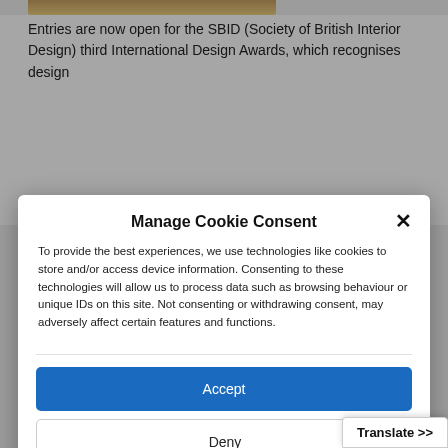[Figure (photo): Partial photo of a person visible at top left of the page behind the modal overlay]
Entries are now open for the SBID (Society of British Interior Design) third International Design Awards, which recognises design
Manage Cookie Consent
To provide the best experiences, we use technologies like cookies to store and/or access device information. Consenting to these technologies will allow us to process data such as browsing behaviour or unique IDs on this site. Not consenting or withdrawing consent, may adversely affect certain features and functions.
Accept
Deny
View preferences
Cookie Policy   Privacy Policy
Translate >>